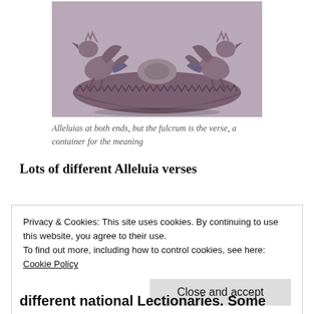[Figure (photo): Black and white photograph of a decorative boat-shaped sculpture with bird-like creatures (roosters or griffins) at both ends facing each other, appearing to mirror one another across a curved vessel.]
Alleluias at both ends, but the fulcrum is the verse, a container for the meaning
Lots of different Alleluia verses
Privacy & Cookies: This site uses cookies. By continuing to use this website, you agree to their use.
To find out more, including how to control cookies, see here:
Cookie Policy
different national Lectionaries. Some